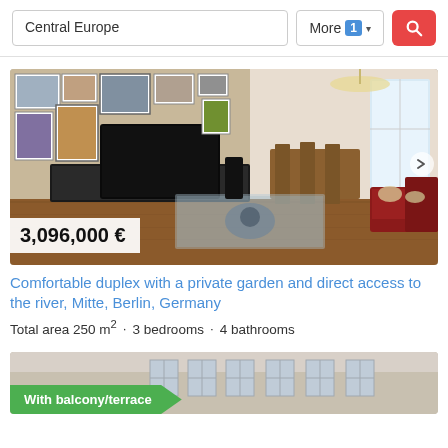Central Europe  More 1  [search button]
[Figure (photo): Interior photo of a luxury duplex living room with dark wood TV console, gallery wall of framed art, glass coffee table, red sofas, hardwood floors, chandelier, and dining area in background. Price badge shows 3,096,000 €]
Comfortable duplex with a private garden and direct access to the river, Mitte, Berlin, Germany
Total area 250 m² · 3 bedrooms · 4 bathrooms
[Figure (photo): Partial view of a building facade with windows, with a 'With balcony/terrace' green banner in the lower left]